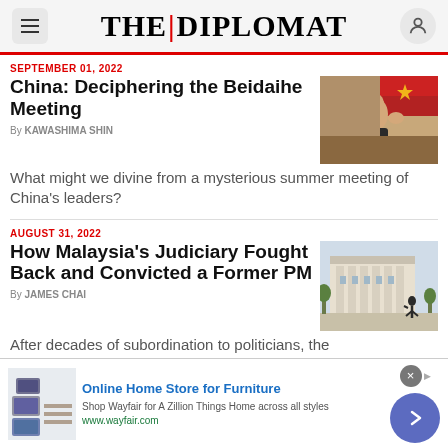THE | DIPLOMAT
SEPTEMBER 01, 2022
China: Deciphering the Beidaihe Meeting
By KAWASHIMA SHIN
[Figure (photo): Xi Jinping waving, with red flag in background]
What might we divine from a mysterious summer meeting of China's leaders?
AUGUST 31, 2022
How Malaysia's Judiciary Fought Back and Convicted a Former PM
By JAMES CHAI
[Figure (photo): Malaysian government building exterior with person walking]
After decades of subordination to politicians, the
[Figure (other): Advertisement: Online Home Store for Furniture - Wayfair]